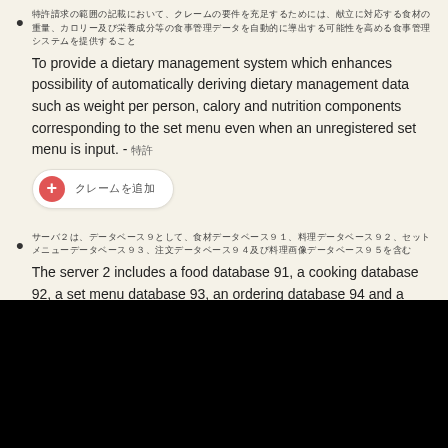[Japanese text] To provide a dietary management system which enhances possibility of automatically deriving dietary management data such as weight per person, calory and nutrition components corresponding to the set menu even when an unregistered set menu is input. - [Japanese]
[Japanese text] The server 2 includes a food database 91, a cooking database 92, a set menu database 93, an ordering database 94 and a cooking image database 95 as a database 9. - [Japanese]